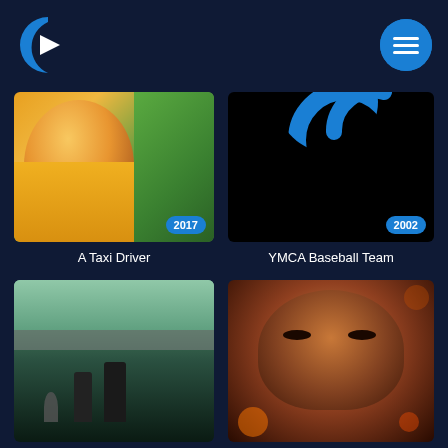[Figure (screenshot): App logo: stylized blue C with white play triangle]
[Figure (screenshot): Navigation menu button: blue circle with three horizontal white lines (hamburger icon)]
[Figure (photo): Movie thumbnail for A Taxi Driver (2017): man in yellow jacket laughing near green taxi]
A Taxi Driver
[Figure (photo): Movie thumbnail for YMCA Baseball Team (2002): dark/black image with blue arc shape at top]
YMCA Baseball Team
[Figure (photo): Movie thumbnail: Parasite scene with figures near modern house with pool]
[Figure (photo): Movie thumbnail: Close-up of man's face with intense expression, warm orange/red tones]